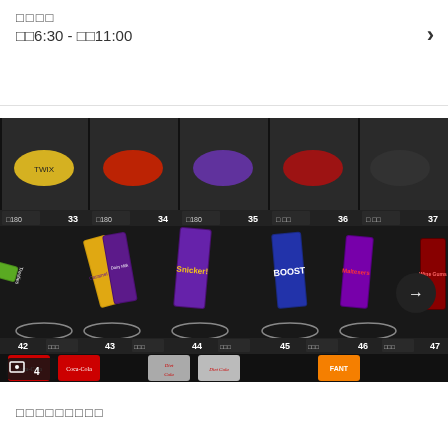□□□□
□□6:30 - □□11:00
[Figure (photo): A vending machine stocked with chocolate bars and snacks including Cadbury Dairy Milk Caramel, Snickers, Boost, Maltesers, and other items. Bottom row shows canned drinks including Coca-Cola, Diet Coke, and Fanta. Slot numbers visible: 33, 34, 35, 36, 37, 42, 43, 44, 45, 46, 47. A navigation arrow button is visible on the right side. Photo counter shows 4 images.]
□□□□□□□□□